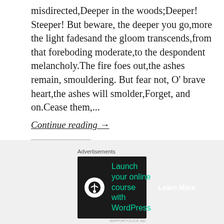misdirected,Deeper in the woods;Deeper! Steeper! But beware, the deeper you go,more the light fadesand the gloom transcends,from that foreboding moderate,to the despondent melancholy.The fire foes out,the ashes remain, smouldering. But fear not, O' brave heart,the ashes will smolder,Forget, and on.Cease them,...
Continue reading →
Share this:
Tweet  Share 0  WhatsApp  Email  Share  Share
[Figure (screenshot): Advertisement banner: Launch your online course with WordPress - Learn More]
Advertisements